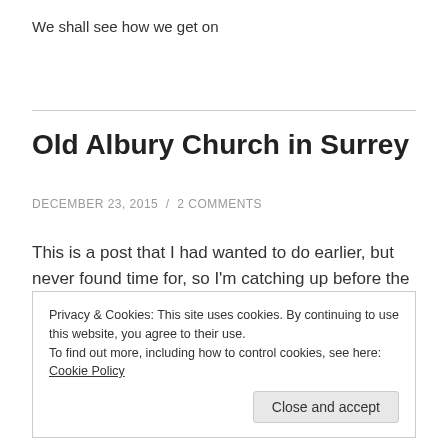We shall see how we get on
Old Albury Church in Surrey
DECEMBER 23, 2015 / 2 COMMENTS
This is a post that I had wanted to do earlier, but never found time for, so I'm catching up before the year end
Privacy & Cookies: This site uses cookies. By continuing to use this website, you agree to their use.
To find out more, including how to control cookies, see here: Cookie Policy
Close and accept